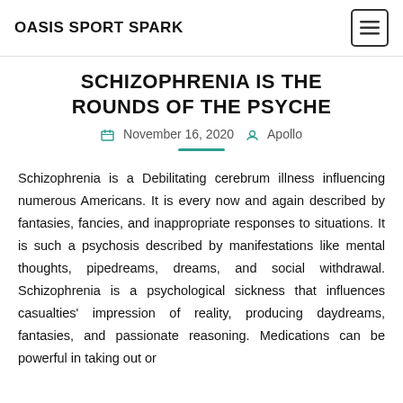OASIS SPORT SPARK
SCHIZOPHRENIA IS THE ROUNDS OF THE PSYCHE
November 16, 2020   Apollo
Schizophrenia is a Debilitating cerebrum illness influencing numerous Americans. It is every now and again described by fantasies, fancies, and inappropriate responses to situations. It is such a psychosis described by manifestations like mental thoughts, pipedreams, dreams, and social withdrawal. Schizophrenia is a psychological sickness that influences casualties' impression of reality, producing daydreams, fantasies, and passionate reasoning. Medications can be powerful in taking out or